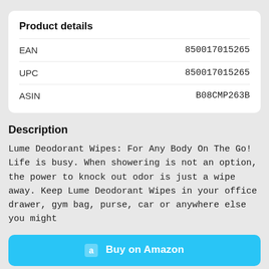Product details
|  |  |
| --- | --- |
| EAN | 850017015265 |
| UPC | 850017015265 |
| ASIN | B08CMP263B |
Description
Lume Deodorant Wipes: For Any Body On The Go! Life is busy. When showering is not an option, the power to knock out odor is just a wipe away. Keep Lume Deodorant Wipes in your office drawer, gym bag, purse, car or anywhere else you might
Buy on Amazon
Start Watching